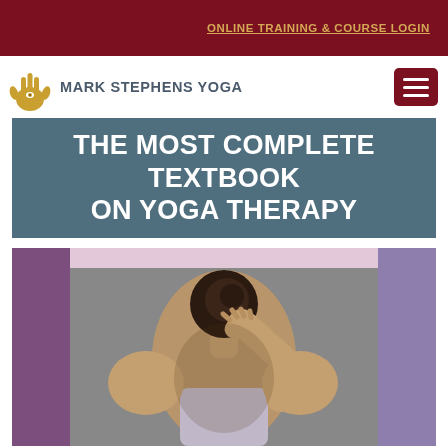ONLINE TRAINING & COURSE LOGIN
[Figure (logo): Mark Stephens Yoga logo with golden hamsa hand symbol and text MARK STEPHENS YOGA]
THE MOST COMPLETE TEXTBOOK ON YOGA THERAPY
[Figure (photo): Woman viewed from behind, touching her neck/shoulder, in yoga apparel, photographed against a grey wall. Background has purple and lavender color blocks.]